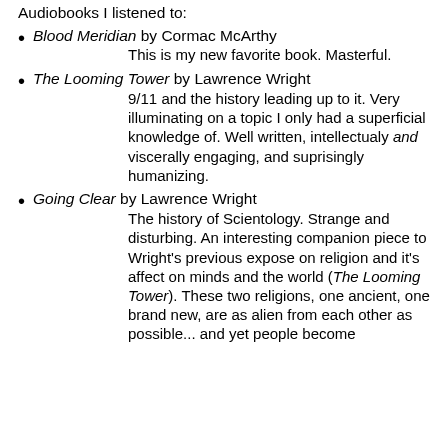Audiobooks I listened to:
Blood Meridian by Cormac McArthy — This is my new favorite book. Masterful.
The Looming Tower by Lawrence Wright — 9/11 and the history leading up to it. Very illuminating on a topic I only had a superficial knowledge of. Well written, intellectualy and viscerally engaging, and suprisingly humanizing.
Going Clear by Lawrence Wright — The history of Scientology. Strange and disturbing. An interesting companion piece to Wright's previous expose on religion and it's affect on minds and the world (The Looming Tower). These two religions, one ancient, one brand new, are as alien from each other as possible... and yet people become